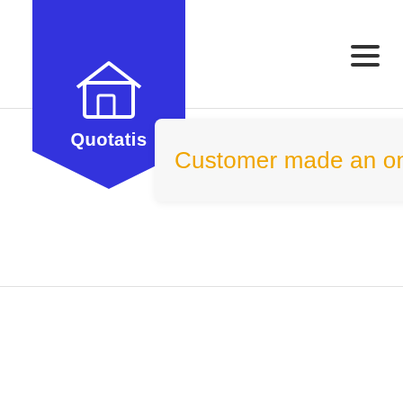[Figure (logo): Quotatis logo — blue shield/badge shape with a house icon and the word Quotatis in white]
[Figure (other): Hamburger menu icon (three horizontal lines) in the top right corner]
Customer made an online enquiry for a
custom... an en...